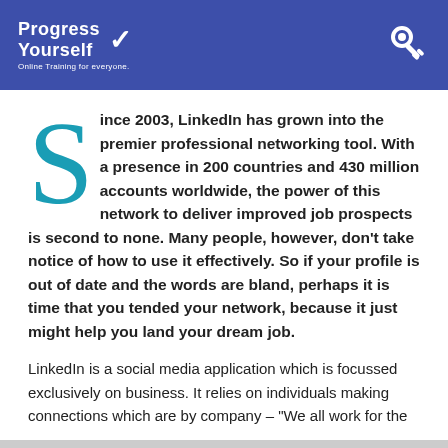Progress Yourself — Online Training for everyone.
Since 2003, LinkedIn has grown into the premier professional networking tool. With a presence in 200 countries and 430 million accounts worldwide, the power of this network to deliver improved job prospects is second to none. Many people, however, don't take notice of how to use it effectively. So if your profile is out of date and the words are bland, perhaps it is time that you tended your network, because it just might help you land your dream job.
LinkedIn is a social media application which is focussed exclusively on business. It relies on individuals making connections which are by company – "We all work for the